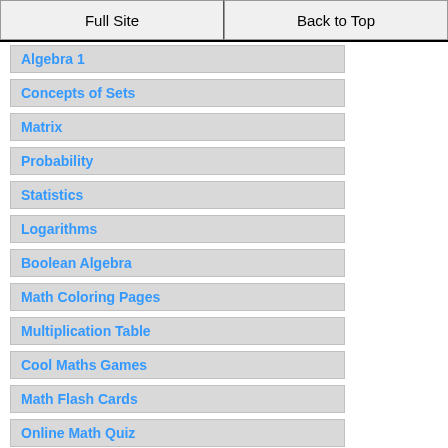Full Site | Back to Top
Algebra 1
Concepts of Sets
Matrix
Probability
Statistics
Logarithms
Boolean Algebra
Math Coloring Pages
Multiplication Table
Cool Maths Games
Math Flash Cards
Online Math Quiz
Math Puzzles
Binary System
Math Dictionary
Conversion Chart